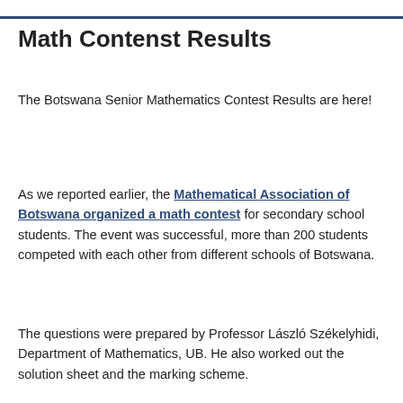Math Contenst Results
The Botswana Senior Mathematics Contest Results are here!
As we reported earlier, the Mathematical Association of Botswana organized a math contest for secondary school students. The event was successful, more than 200 students competed with each other from different schools of Botswana.
The questions were prepared by Professor László Székelyhidi, Department of Mathematics, UB. He also worked out the solution sheet and the marking scheme.